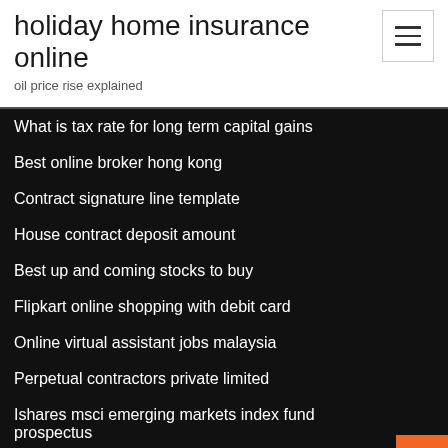holiday home insurance online
oil price rise explained
What is tax rate for long term capital gains
Best online broker hong kong
Contract signature line template
House contract deposit amount
Best up and coming stocks to buy
Flipkart online shopping with debit card
Online virtual assistant jobs malaysia
Perpetual contractors private limited
Ishares msci emerging markets index fund prospectus
Closing price of dow jones industrial average